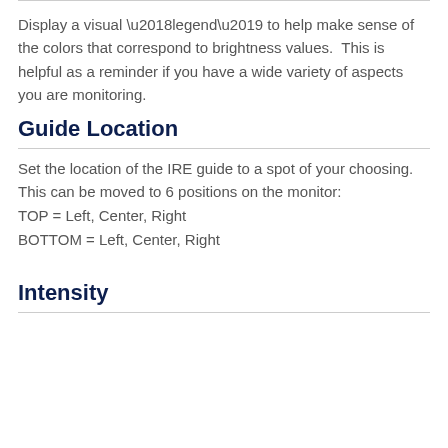Display a visual ‘legend’ to help make sense of the colors that correspond to brightness values.  This is helpful as a reminder if you have a wide variety of aspects you are monitoring.
Guide Location
Set the location of the IRE guide to a spot of your choosing.
This can be moved to 6 positions on the monitor:
TOP = Left, Center, Right
BOTTOM = Left, Center, Right
Intensity